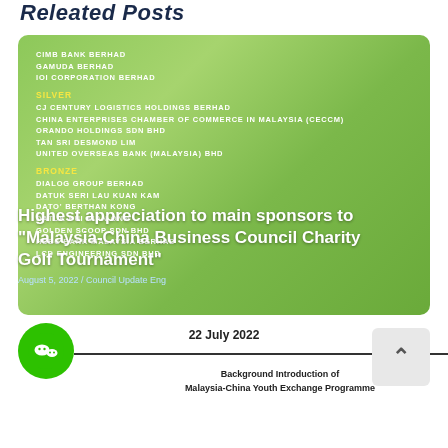Releated Posts
[Figure (infographic): Green card with list of company sponsors (Gold, Silver, Bronze categories) for Malaysia-China Business Council Charity Golf Tournament, overlaid with article preview card.]
Highest appreciation to main sponsors to "Malaysia-China Business Council Charity Golf Tournament"
August 5, 2022 / Council Update Eng
22 July 2022
[Figure (logo): WeChat green circular icon button]
[Figure (other): Back to top arrow button]
Background Introduction of Malaysia-China Youth Exchange Programme